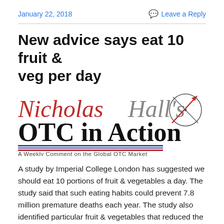January 22, 2018    Leave a Reply
New advice says eat 10 fruit & veg per day
[Figure (logo): Nicholas Hall's OTC in Action logo — 'Nicholas' in red serif, 'Hall's' in gray serif, 'OTC in Action' in large black serif, with a compass/crosshair graphic in red and gray, blue and red underline bars, and subtitle 'A Weekly Comment on the Global OTC Market']
A study by Imperial College London has suggested we should eat 10 portions of fruit & vegetables a day. The study said that such eating habits could prevent 7.8 million premature deaths each year. The study also identified particular fruit & vegetables that reduced the risk of cancer